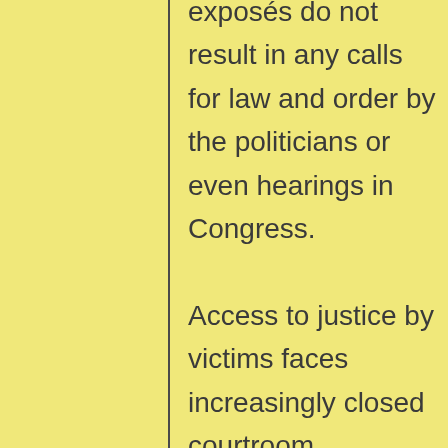exposés do not result in any calls for law and order by the politicians or even hearings in Congress.

Access to justice by victims faces increasingly closed courtroom